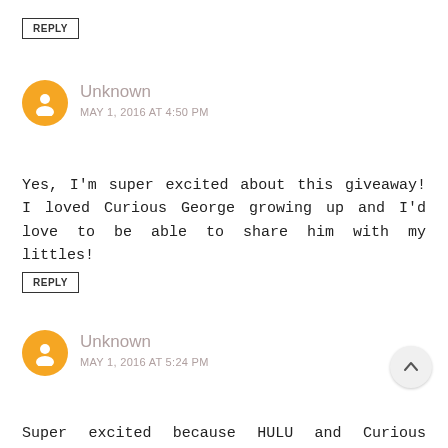REPLY
Unknown
MAY 1, 2016 AT 4:50 PM
Yes, I'm super excited about this giveaway! I loved Curious George growing up and I'd love to be able to share him with my littles!
REPLY
Unknown
MAY 1, 2016 AT 5:24 PM
Super excited because HULU and Curious George makeep